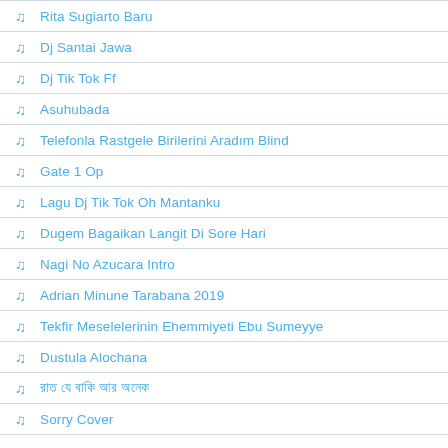Rita Sugiarto Baru
Dj Santai Jawa
Dj Tik Tok Ff
Asuhubada
Telefonla Rastgele Birilerini Aradım Blind
Gate 1 Op
Lagu Dj Tik Tok Oh Mantanku
Dugem Bagaikan Langit Di Sore Hari
Nagi No Azucara Intro
Adrian Minune Tarabana 2019
Tekfir Meselelerinin Ehemmiyeti Ebu Sumeyye
Dustula Alochana
রাত যে বাকি আর অনেক
Sorry Cover